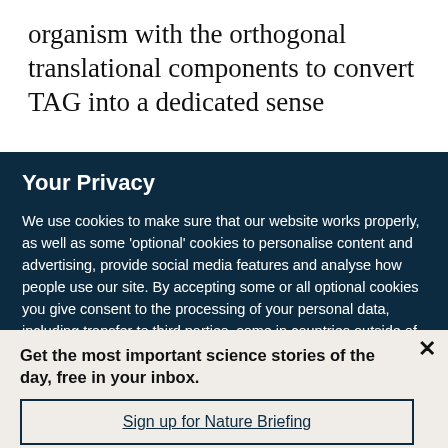organism with the orthogonal translational components to convert TAG into a dedicated sense
Your Privacy
We use cookies to make sure that our website works properly, as well as some 'optional' cookies to personalise content and advertising, provide social media features and analyse how people use our site. By accepting some or all optional cookies you give consent to the processing of your personal data, including transfer to third parties, some in countries outside of the European Economic Area that do not offer the same data protection standards as the country where you live. You can decide which optional cookies to accept by clicking on 'Manage Settings', where you can
Get the most important science stories of the day, free in your inbox.
Sign up for Nature Briefing